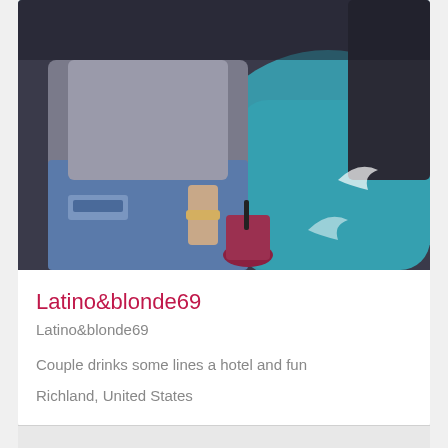[Figure (photo): Two people at a social venue/bar, one wearing a grey top and ripped jeans holding a drink with a straw. Teal/blue decor in background. Dark indoor setting.]
Latino&blonde69
Latino&blonde69
Couple drinks some lines a hotel and fun
Richland, United States